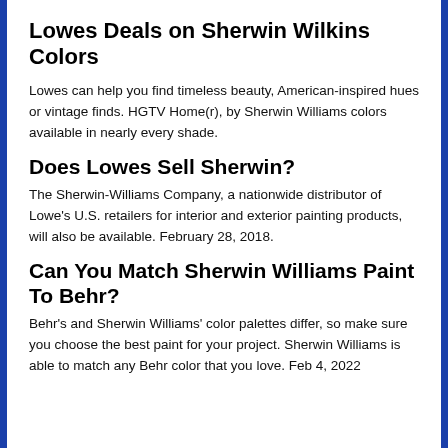Lowes Deals on Sherwin Wilkins Colors
Lowes can help you find timeless beauty, American-inspired hues or vintage finds. HGTV Home(r), by Sherwin Williams colors available in nearly every shade.
Does Lowes Sell Sherwin?
The Sherwin-Williams Company, a nationwide distributor of Lowe's U.S. retailers for interior and exterior painting products, will also be available. February 28, 2018.
Can You Match Sherwin Williams Paint To Behr?
Behr's and Sherwin Williams' color palettes differ, so make sure you choose the best paint for your project. Sherwin Williams is able to match any Behr color that you love. Feb 4, 2022